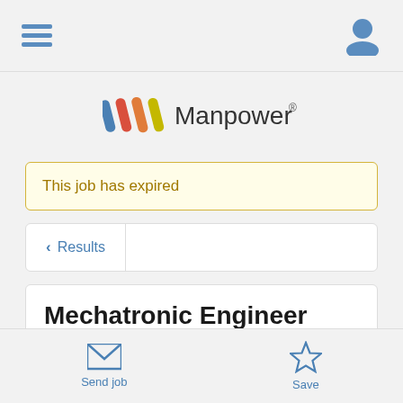[Figure (screenshot): Mobile app screenshot showing Manpower job listing app with hamburger menu icon on left and user profile icon on right in nav bar]
[Figure (logo): Manpower logo with colorful angled stripes (blue, red, orange, yellow-green) and text 'Manpower' with registered trademark symbol]
This job has expired
< Results
Mechatronic Engineer
Send job
Save